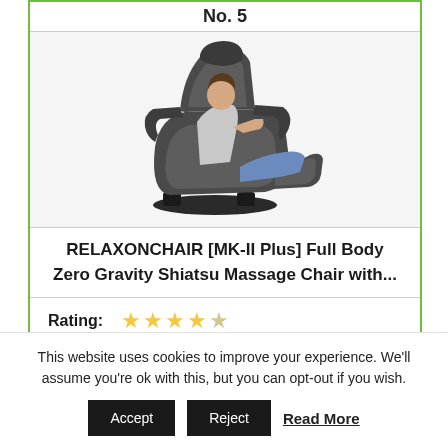No. 5
[Figure (photo): Person reclining in a dark gray massage chair with footrest extended, zero-gravity position]
RELAXONCHAIR [MK-II Plus] Full Body Zero Gravity Shiatsu Massage Chair with...
Rating: ★★★★☆
This website uses cookies to improve your experience. We'll assume you're ok with this, but you can opt-out if you wish.
Accept | Reject | Read More